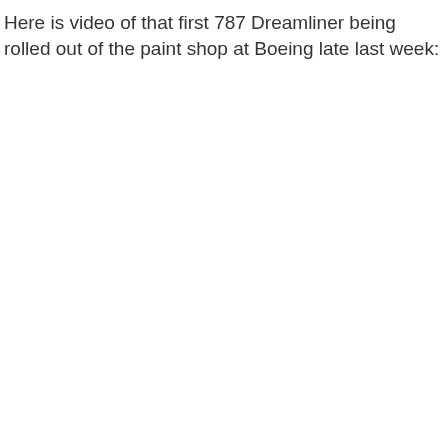Here is video of that first 787 Dreamliner being rolled out of the paint shop at Boeing late last week: